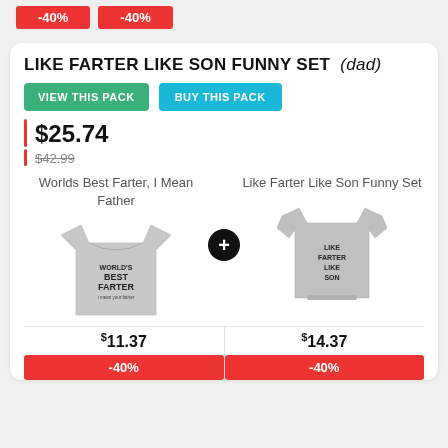[Figure (other): Two red discount badge buttons at top showing -40%]
LIKE FARTER LIKE SON FUNNY SET (dad)
VIEW THIS PACK
BUY THIS PACK
$25.74
$42.99 (strikethrough)
Worlds Best Farter, I Mean Father
Like Farter Like Son Funny Set
[Figure (photo): Grey t-shirt with text WORLD'S BEST FARTER]
[Figure (photo): Grey baby onesie with text LIKE FARTER LIKE SON]
$11.37
-40%
$14.37
-40%